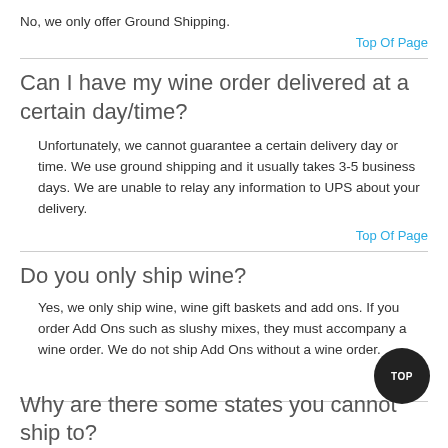No, we only offer Ground Shipping.
Top Of Page
Can I have my wine order delivered at a certain day/time?
Unfortunately, we cannot guarantee a certain delivery day or time. We use ground shipping and it usually takes 3-5 business days. We are unable to relay any information to UPS about your delivery.
Top Of Page
Do you only ship wine?
Yes, we only ship wine, wine gift baskets and add ons. If you order Add Ons such as slushy mixes, they must accompany a wine order. We do not ship Add Ons without a wine order.
Top Of Page
Why are there some states you cannot ship to?